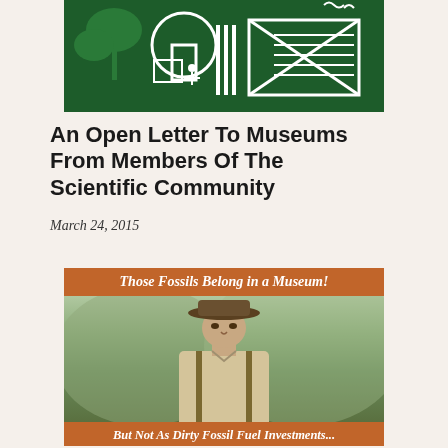[Figure (illustration): Green illustration with white line art showing industrial/building scene with smokestacks or machinery on dark green background]
An Open Letter To Museums From Members Of The Scientific Community
March 24, 2015
[Figure (photo): Meme image with Indiana Jones character. Top banner reads 'Those Fossils Belong in a Museum!' and bottom banner reads 'But Not As Dirty Fossil Fuel Investments...' Photo shows man in explorer hat looking serious.]